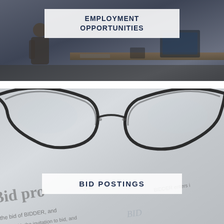[Figure (photo): Office background photo with a person standing near a desk, with a semi-transparent white overlay box displaying 'EMPLOYMENT OPPORTUNITIES' in dark navy bold uppercase text]
[Figure (photo): Close-up photo of eyeglasses resting on a bid document with printed legal text visible, overlaid with a semi-transparent white box displaying 'BID POSTINGS' in dark navy bold uppercase text]
[Figure (photo): Partial view of a third section with dark navy/blue background, cut off at the bottom of the page]